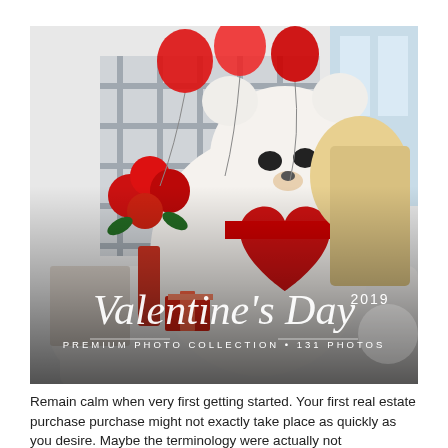[Figure (photo): Promotional photo for Valentine's Day 2019 Premium Photo Collection showing a woman hugging a large white teddy bear with red heart, surrounded by red roses in a vase and red heart-shaped balloons. Text overlay reads 'Valentine's Day 2019 PREMIUM PHOTO COLLECTION • 131 PHOTOS'.]
Remain calm when very first getting started. Your first real estate purchase purchase might not exactly take place as quickly as you desire. Maybe the terminology were actually not